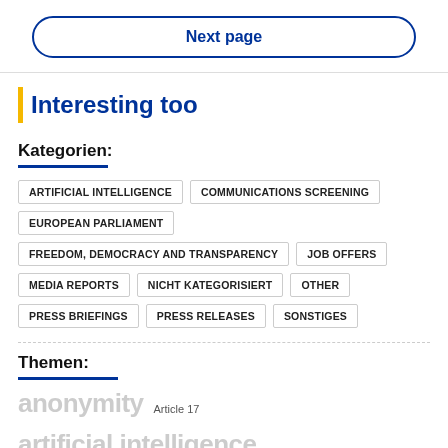Next page
Interesting too
Kategorien:
ARTIFICIAL INTELLIGENCE
COMMUNICATIONS SCREENING
EUROPEAN PARLIAMENT
FREEDOM, DEMOCRACY AND TRANSPARENCY
JOB OFFERS
MEDIA REPORTS
NICHT KATEGORISIERT
OTHER
PRESS BRIEFINGS
PRESS RELEASES
SONSTIGES
Themen:
anonymity  Article 17  artificial intelligence